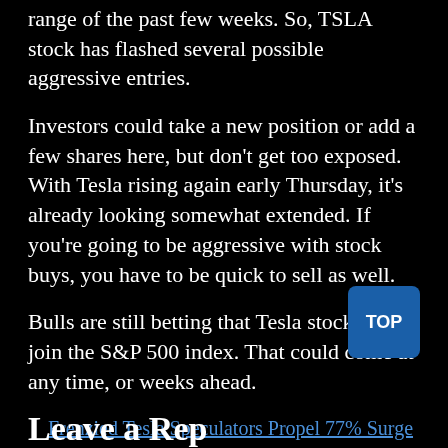range of the past few weeks. So, TSLA stock has flashed several possible aggressive entries.
Investors could take a new position or add a few shares here, but don't get too exposed. With Tesla rising again early Thursday, it's already looking somewhat extended. If you're going to be aggressive with stock buys, you have to be quick to sell as well.
Bulls are still betting that Tesla stock will join the S&P 500 index. That could come at any time, or weeks ahead.
Frenzied Tesla Speculators Propel 77% Surge in Options Trading
Leave a Reply